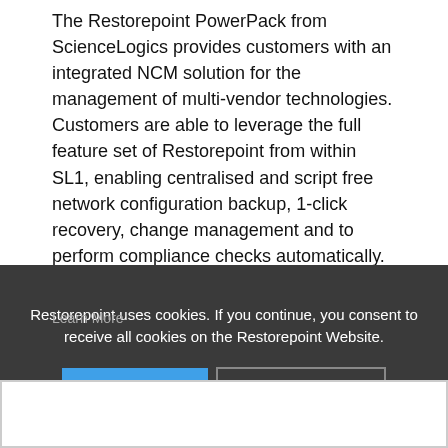The Restorepoint PowerPack from ScienceLogics provides customers with an integrated NCM solution for the management of multi-vendor technologies. Customers are able to leverage the full feature set of Restorepoint from within SL1, enabling centralised and script free network configuration backup, 1-click recovery, change management and to perform compliance checks automatically.
Restorepoint uses cookies. If you continue, you consent to receive all cookies on the Restorepoint Website.
AGREE
MORE INFO
Learn More
d a Reseller